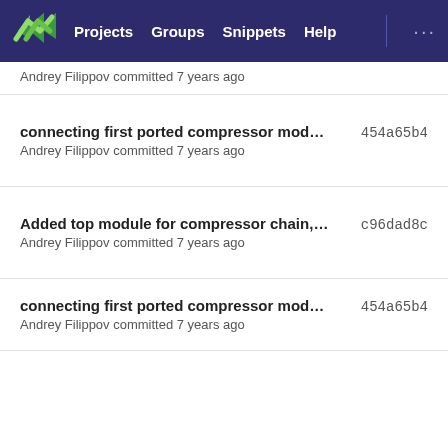Projects  Groups  Snippets  Help
Andrey Filippov committed 7 years ago
connecting first ported compressor modul...  454a65b4
Andrey Filippov committed 7 years ago
Added top module for compressor chain, fi...  c96dad8c
Andrey Filippov committed 7 years ago
connecting first ported compressor modul...  454a65b4
Andrey Filippov committed 7 years ago